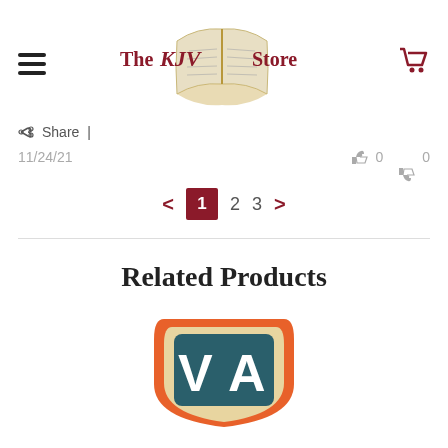[Figure (logo): The KJV Store logo with open book graphic and bold dark red serif text reading 'The KJV Store']
Share |
11/24/21
0  0
< 1 2 3 >
Related Products
[Figure (logo): Product logo: orange shield shape with teal/dark background, white letter V and A visible, partial view]